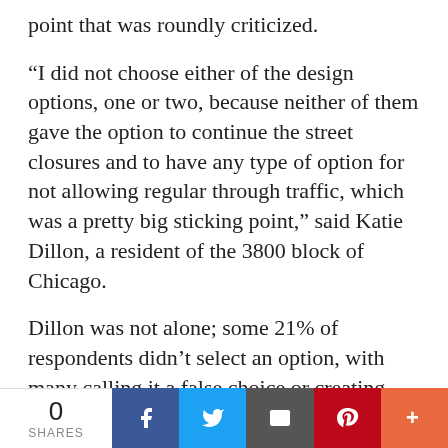point that was roundly criticized.
“I did not choose either of the design options, one or two, because neither of them gave the option to continue the street closures and to have any type of option for not allowing regular through traffic, which was a pretty big sticking point,” said Katie Dillon, a resident of the 3800 block of Chicago.
Dillon was not alone; some 21% of respondents didn’t select an option, with many calling it a false choice or creating and checking a box and calling it a third option.
The city’s announcement was based on the
0 SHARES | Facebook | Twitter | Email | Pinterest | More